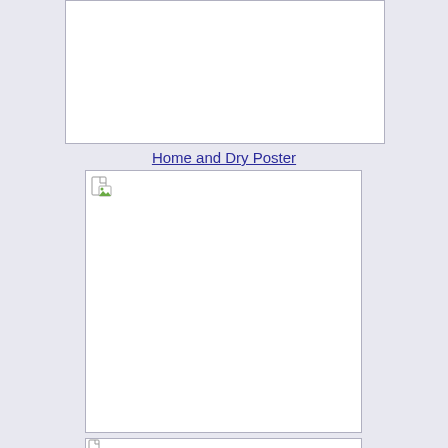[Figure (other): Blank white rectangle placeholder image at top of page]
Home and Dry Poster
[Figure (photo): Broken image placeholder with small icon in top-left corner representing a poster image for 'Home and Dry']
[Figure (other): Partial broken image placeholder at bottom of page]